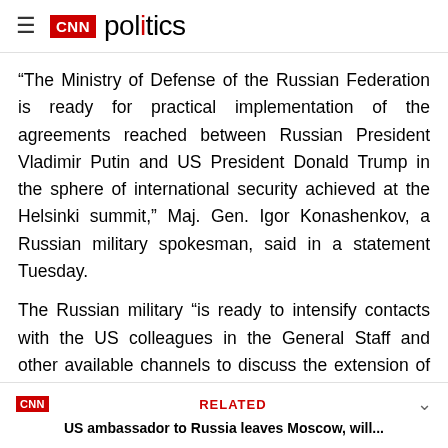CNN politics
“The Ministry of Defense of the Russian Federation is ready for practical implementation of the agreements reached between Russian President Vladimir Putin and US President Donald Trump in the sphere of international security achieved at the Helsinki summit,” Maj. Gen. Igor Konashenkov, a Russian military spokesman, said in a statement Tuesday.
The Russian military “is ready to intensify contacts with the US colleagues in the General Staff and other available channels to discuss the extension of the START treaty, cooperation in Syria, as well as other
CNN RELATED US ambassador to Russia leaves Moscow, will...